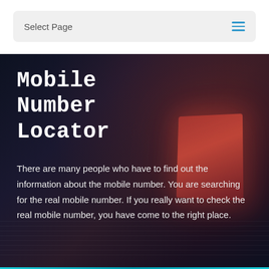Select Page
Mobile Number Locator
There are many people who have to find out the information about the mobile number. You are searching for the real mobile number. If you really want to check the real mobile number, you have come to the right place.